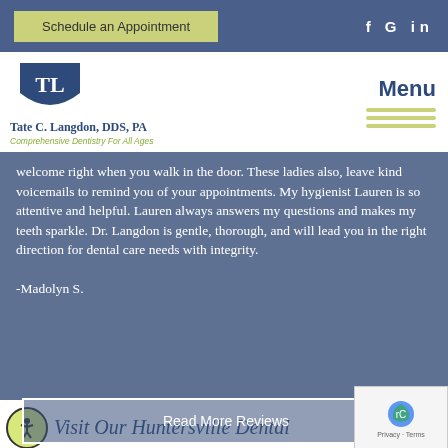Schedule an Appointment  f G in
[Figure (logo): Tate C. Langdon DDS PA logo with TL monogram shield, practice name and tagline 'Comprehensive Dentistry For All Ages']
Menu
welcome right when you walk in the door. These ladies also, leave kind voicemails to remind you of your appointments. My hygienist Lauren is so attentive and helpful. Lauren always answers my questions and makes my teeth sparkle. Dr. Langdon is gentle, thorough, and will lead you in the right direction for dental care needs with integrity.

-Madolyn S.
Read More Reviews
Visit Our Huntersville Dental